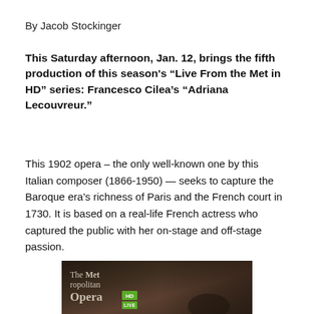By Jacob Stockinger
This Saturday afternoon, Jan. 12, brings the fifth production of this season's “Live From the Met in HD” series: Francesco Cilea’s “Adriana Lecouvreur.”
This 1902 opera – the only well-known one by this Italian composer (1866-1950) — seeks to capture the Baroque era’s richness of Paris and the French court in 1730. It is based on a real-life French actress who captured the public with her on-stage and off-stage passion.
[Figure (photo): Metropolitan Opera HD Live logo on dark background with a figure partially visible]